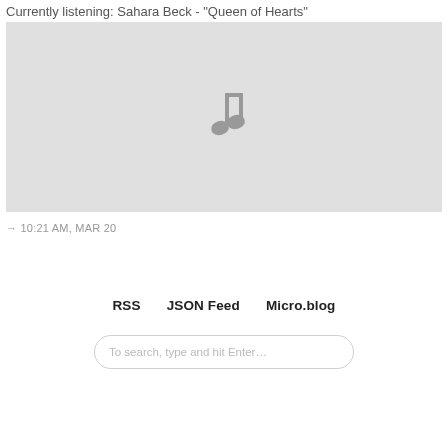Currently listening: Sahara Beck - "Queen of Hearts"
[Figure (illustration): Gray rectangle placeholder image with a music note icon in the center]
→ 10:21 AM, MAR 20
RSS   JSON Feed   Micro.blog
To search, type and hit Enter…